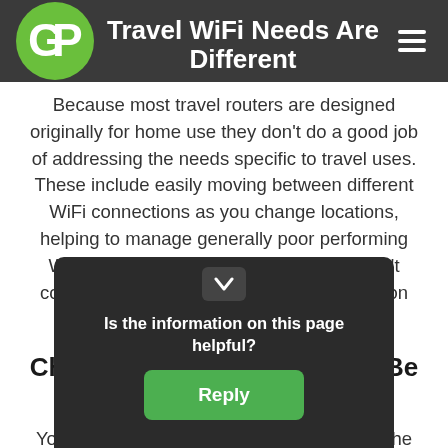Travel WiFi Needs Are Different
Because most travel routers are designed originally for home use they don’t do a good job of addressing the needs specific to travel uses. These include easily moving between different WiFi connections as you change locations, helping to manage generally poor performing WiFi and providing security when you don’t control the security of the internet connection you are using.
Cheap Travel Routers Could Be A Security Risk
You may wonder if it’s worth buying one of the those “cheap” travel routers you find on the internet. Like many things in life the same applies here…you may hurt ... you
Is the information on this page helpful?
Reply